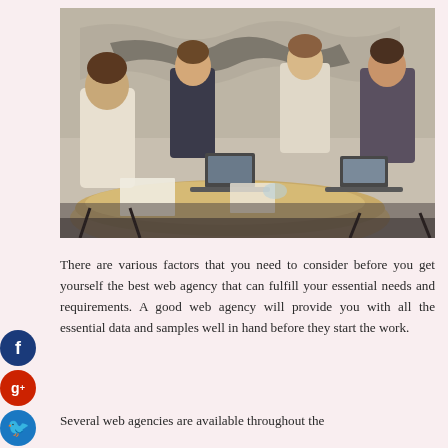[Figure (photo): Business meeting scene with four people around a round table with laptops and papers, world map on the wall behind them]
There are various factors that you need to consider before you get yourself the best web agency that can fulfill your essential needs and requirements. A good web agency will provide you with all the essential data and samples well in hand before they start the work.
Several web agencies are available throughout the